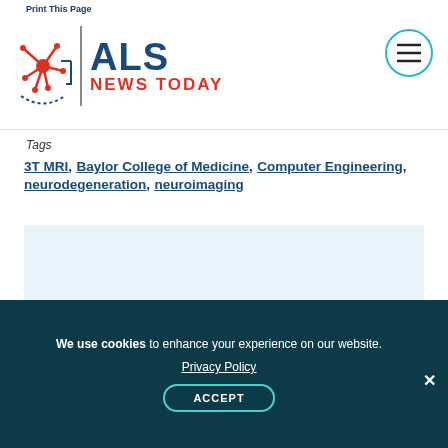Print This Page | ALS NEWS TODAY
Tags
3T MRI, Baylor College of Medicine, Computer Engineering, neurodegeneration, neuroimaging
[Figure (other): Light blue advertisement/content block]
Recent Posts
We use cookies to enhance your experience on our website. Privacy Policy ACCEPT